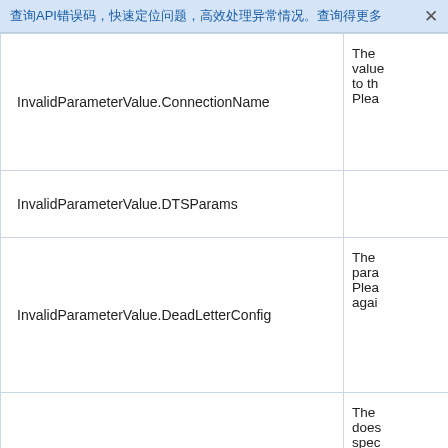API错误码参考
| 错误码 | 描述 |
| --- | --- |
| InvalidParameterValue.ConnectionName | The value... to th... Plea... |
| InvalidParameterValue.DTSParams |  |
| InvalidParameterValue.DeadLetterConfig | The para... Plea... again... |
| InvalidParameterValue.Description | The does... spec... and ... |
|  |  |